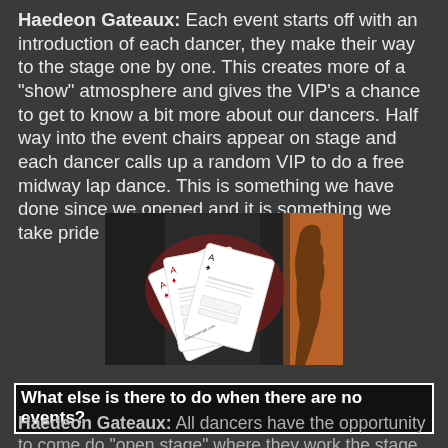Haedeon Gateaux: Each event starts off with an introduction of each dancer, they make their way to the stage one by one. This creates more of a "show" atmosphere and gives the VIP's a chance to get to know a bit more about our dancers. Half way into the event chairs appear on stage and each dancer calls up a random VIP to do a free midway lap dance. This is something we have done since we opened and it is something we take pride in.
[Figure (photo): Photo of playing card-style promotional flyers/menus fanned out on a dark surface, with a warm orange-lit background on the right side showing a silhouette figure]
What else is there to do when there are no events?
Haedeon Gateaux: All dancers have the opportunity to come do "open stage" where they work the stage without any scheduled events. VIPs can ask a specific dancer to come down and work open stage but the dancer makes the